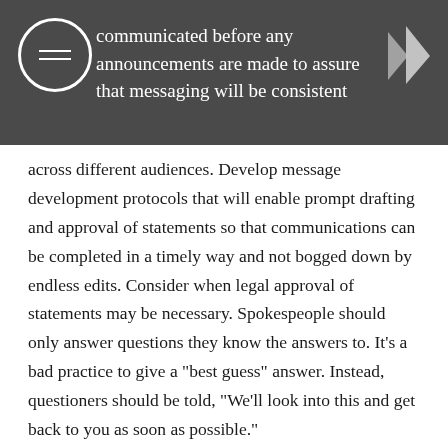communicated before any announcements are made to assure that messaging will be consistent across different audiences. Develop message development protocols that will enable prompt drafting and approval of statements so that communications can be completed in a timely way and not bogged down by endless edits. Consider when legal approval of statements may be necessary. Spokespeople should only answer questions they know the answers to. It’s a bad practice to give a “best guess” answer. Instead, questioners should be told, “We’ll look into this and get back to you as soon as possible.”
Be prepared to provide timely updates as necessary and inform stakeholders where they can go for additional information or questions.